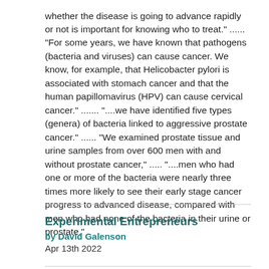whether the disease is going to advance rapidly or not is important for knowing who to treat." ...... "For some years, we have known that pathogens (bacteria and viruses) can cause cancer. We know, for example, that Helicobacter pylori is associated with stomach cancer and that the human papillomavirus (HPV) can cause cervical cancer." ....... "....we have identified five types (genera) of bacteria linked to aggressive prostate cancer." ...... "We examined prostate tissue and urine samples from over 600 men with and without prostate cancer," ..... "....men who had one or more of the bacteria were nearly three times more likely to see their early stage cancer progress to advanced disease, compared with men who had none of the bacteria in their urine or prostate."
Experimental Entrepreneurs
by David Galenson
Apr 13th 2022